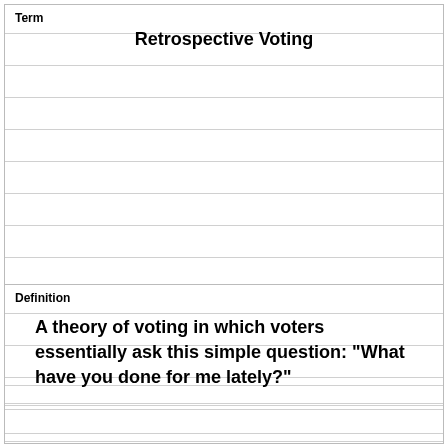Term
Retrospective Voting
Definition
A theory of voting in which voters essentially ask this simple question: "What have you done for me lately?"